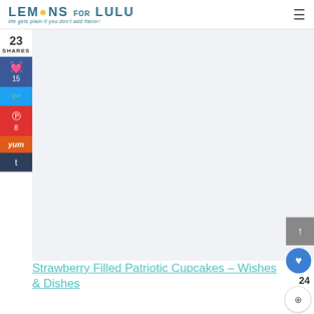LEMONS FOR LULU — life gets plain if you don't add flavor!
23 SHARES
[Figure (screenshot): Social sharing sidebar with Facebook (15), Twitter, Pinterest (8), Yummly, and Tumblr buttons]
[Figure (photo): Main content image area (light gray placeholder)]
Strawberry Filled Patriotic Cupcakes – Wishes & Dishes